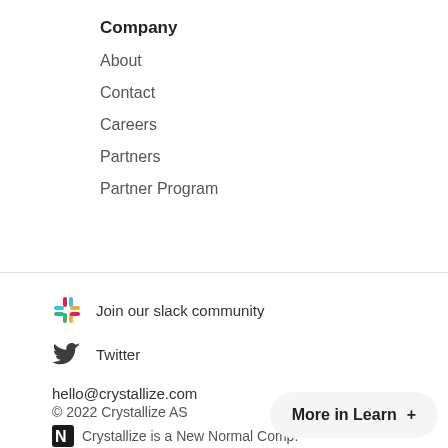Company
About
Contact
Careers
Partners
Partner Program
Join our slack community
Twitter
hello@crystallize.com
© 2022 Crystallize AS
Crystallize is a New Normal Comp.
More in Learn +